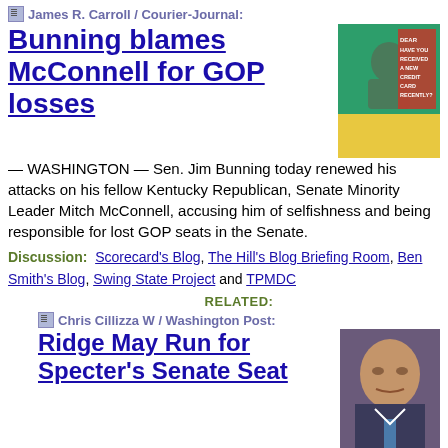James R. Carroll / Courier-Journal:
Bunning blames McConnell for GOP losses
[Figure (photo): Advertisement image with text 'Have you received a new credit card recently?' on green and yellow background]
— WASHINGTON — Sen. Jim Bunning today renewed his attacks on his fellow Kentucky Republican, Senate Minority Leader Mitch McConnell, accusing him of selfishness and being responsible for lost GOP seats in the Senate.
Discussion: Scorecard's Blog, The Hill's Blog Briefing Room, Ben Smith's Blog, Swing State Project and TPMDC
RELATED:
Chris Cillizza W / Washington Post:
Ridge May Run for Specter's Senate Seat
[Figure (photo): Photo of Tom Ridge, former Pennsylvania governor, looking serious]
— Former Pennsylvania governor Tom Ridge (R) is seriously considering a 2010 bid for the